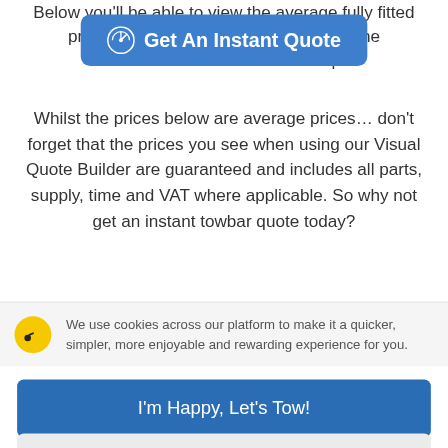Below you'll be able to view the average fully fitted price of to... r some of the m... ups.
[Figure (screenshot): Blue rounded button with a speedometer/timer icon and the text 'Get An Instant Quote']
Whilst the prices below are average prices… don't forget that the prices you see when using our Visual Quote Builder are guaranteed and includes all parts, supply, time and VAT where applicable. So why not get an instant towbar quote today?
We use cookies across our platform to make it a quicker, simpler, more enjoyable and rewarding experience for you.
I'm Happy, Let's Tow!
No thanks I'll take the limited experience
Manage my cookies